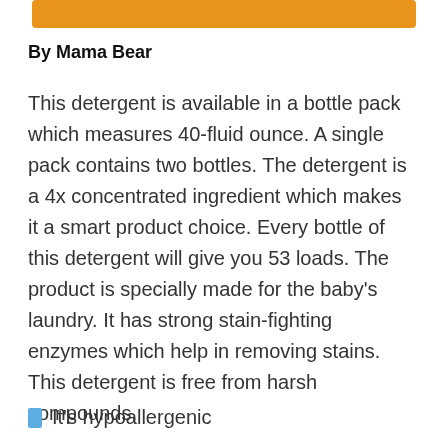By Mama Bear
This detergent is available in a bottle pack which measures 40-fluid ounce. A single pack contains two bottles. The detergent is a 4x concentrated ingredient which makes it a smart product choice. Every bottle of this detergent will give you 53 loads. The product is specially made for the baby's laundry. It has strong stain-fighting enzymes which help in removing stains. This detergent is free from harsh compounds.
It's hypoallergenic